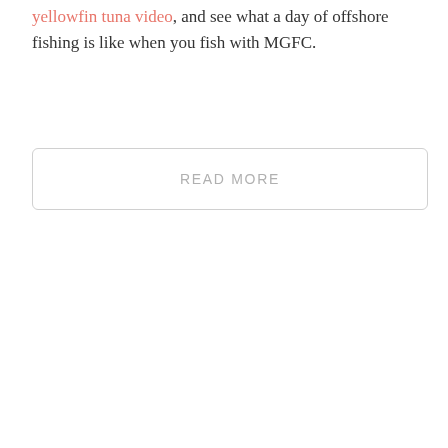yellowfin tuna video, and see what a day of offshore fishing is like when you fish with MGFC.
READ MORE